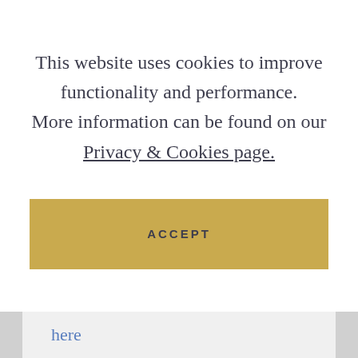This website uses cookies to improve functionality and performance. More information can be found on our Privacy & Cookies page.
ACCEPT
here